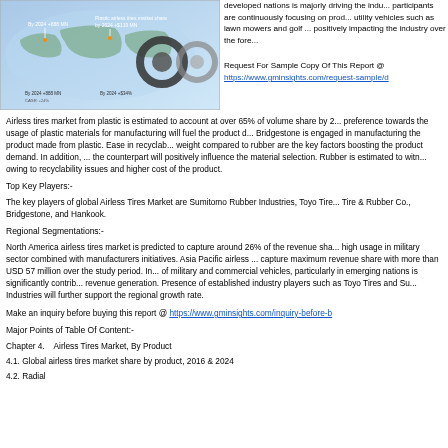[Figure (infographic): Airless tires market infographic showing world map with market data points and tire images]
developed nations is majorly driving the industry. participants are continuously focusing on product innovations. utility vehicles such as lawn mowers and golf carts are positively impacting the industry over the forecast period.
Request For Sample Copy Of This Report @ https://www.gminsights.com/request-sample/d
Airless tires market from plastic is estimated to account at over 65% of volume share by 2... preference towards the usage of plastic materials for manufacturing will fuel the product d... Bridgestone is engaged in manufacturing the product made from plastic. Ease in recyclab... weight compared to rubber are the key factors boosting the product demand. In addition, ... the counterpart will positively influence the material selection. Rubber is estimated to witn... owing to recyclability issues and higher cost of the product.
Top Key Players:-
The key players of global Airless Tires Market are Sumitomo Rubber Industries, Toyo Tire... Tire & Rubber Co., Bridgestone, and Hankook.
Regional Segmentations:-
North America airless tires market is predicted to capture around 26% of the revenue sha... high usage in military sector combined with manufacturers initiatives. Asia Pacific airless ... capture maximum revenue share with more than USD 57 million over the study period. In... of military and commercial vehicles, particularly in emerging nations is significantly contrib... revenue generation. Presence of established industry players such as Toyo Tires and Su... Industries will further support the regional growth rate.
Make an inquiry before buying this report @ https://www.gminsights.com/inquiry-before-b
Major Points of Table Of Content:-
Chapter 4.    Airless Tires Market, By Product
4.1. Global airless tires market share by product, 2016 & 2024
4.2. Radial